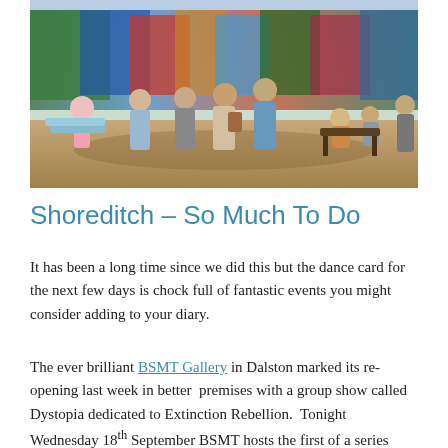[Figure (photo): Outdoor courtyard or garden area with people socializing, colorful graffiti murals on walls in the background, wooden furniture, sunny day. People standing and walking in a casual outdoor space.]
Shoreditch – So Much To Do
It has been a long time since we did this but the dance card for the next few days is chock full of fantastic events you might consider adding to your diary.
The ever brilliant BSMT Gallery in Dalston marked its re-opening last week in better  premises with a group show called Dystopia dedicated to Extinction Rebellion.  Tonight Wednesday 18th September BSMT hosts the first of a series